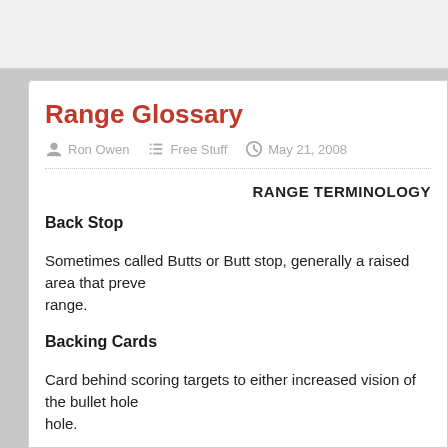Range Glossary
Ron Owen   Free Stuff   May 21, 2008
RANGE TERMINOLOGY
Back Stop
Sometimes called Butts or Butt stop, generally a raised area that preve… range.
Backing Cards
Card behind scoring targets to either increased vision of the bullet hole… hole.
Bench Rest
Heavy table equipped with a Rifle Rest and Sand Bags for Bench Rest… zero.
Bullet Blocks
Wooden blocks used to stand ammunition in.